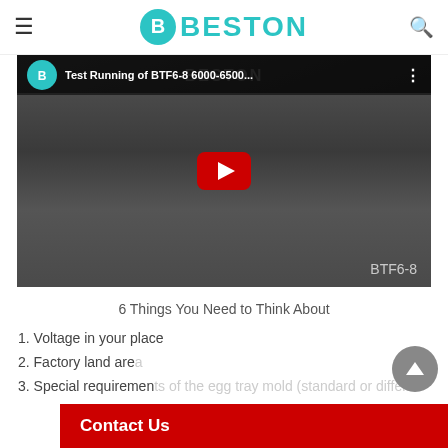BESTON
[Figure (screenshot): YouTube video thumbnail showing 'Test Running of BTF6-8 6000-6500...' with a red play button over industrial egg tray machine machinery in a factory. Bottom right shows 'BTF6-8' label.]
6 Things You Need to Think About
1. Voltage in your place
2. Factory land area
3. Special requirements of the egg tray mold (standard or different